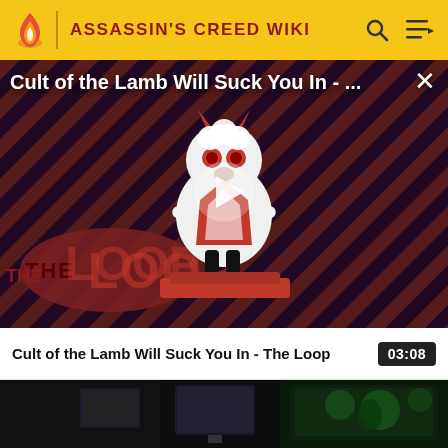ASSASSIN'S CREED WIKI
[Figure (screenshot): Video player showing Cult of the Lamb Will Suck You In - The Loop, with a cartoon lamb character on a red striped background and The Loop logo. A play button is visible in the center.]
Cult of the Lamb Will Suck You In - The Loop
03:08
[Figure (screenshot): Dark thumbnail showing a gaming setup with monitors displaying game footage.]